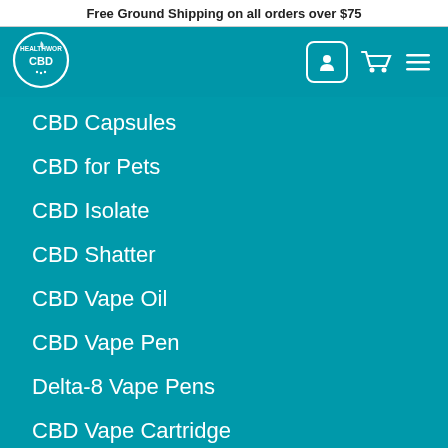Free Ground Shipping on all orders over $75
[Figure (logo): HealthworxCBD circular logo in white on teal background]
CBD Capsules
CBD for Pets
CBD Isolate
CBD Shatter
CBD Vape Oil
CBD Vape Pen
Delta-8 Vape Pens
CBD Vape Cartridge
FOLLOW US